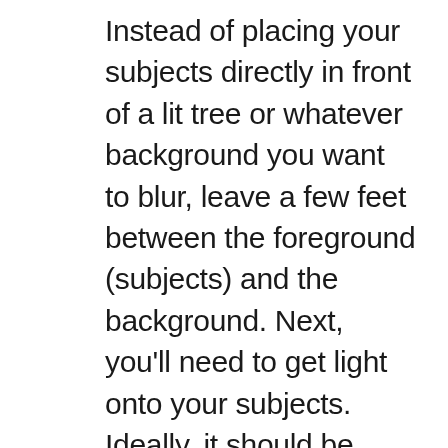Instead of placing your subjects directly in front of a lit tree or whatever background you want to blur, leave a few feet between the foreground (subjects) and the background. Next, you'll need to get light onto your subjects. Ideally, it should be natural light from a window behind the camera, with the camera stationed between your subjects and the window. That way, you don't need to use a flash, which will be too harsh and throw off the effect. Of course, it's more effective to take the photos during the day when there's ample light streaming in, and you should avoid a dark room or using harsh lighting.The largest part of the Christmas tree is at the bottom, excluding the gap you left to fill in presents for. To help fill the background with those lights, have the subject sit or kneel in front of